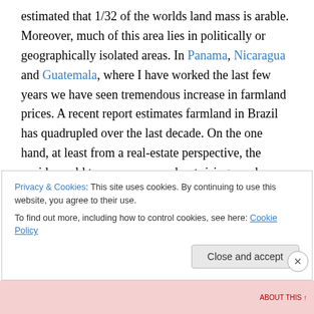estimated that 1/32 of the worlds land mass is arable. Moreover, much of this area lies in politically or geographically isolated areas. In Panama, Nicaragua and Guatemala, where I have worked the last few years we have seen tremendous increase in farmland prices. A recent report estimates farmland in Brazil has quadrupled over the last decade. On the one hand, at least from a real-estate perspective, the upside could trump concerns about rising purchase and establishment costs, on the other we will face rising costs both as consumers and investors, meaning of course plantation costs, at all levels
Privacy & Cookies: This site uses cookies. By continuing to use this website, you agree to their use.
To find out more, including how to control cookies, see here: Cookie Policy